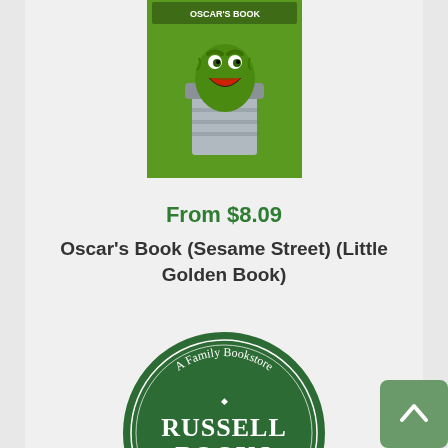[Figure (illustration): Book cover of Oscar's Book featuring Oscar the Grouch from Sesame Street in a trash can, illustrated character on green background]
From $8.09
Oscar's Book (Sesame Street) (Little Golden Book)
[Sesame Street] Moss, Jeffrey
Hardcover
[Figure (logo): Russell Books circular logo — A Family Bookstore, Russell Books, Victoria, BC, Est. 1961, dark green circle with white text]